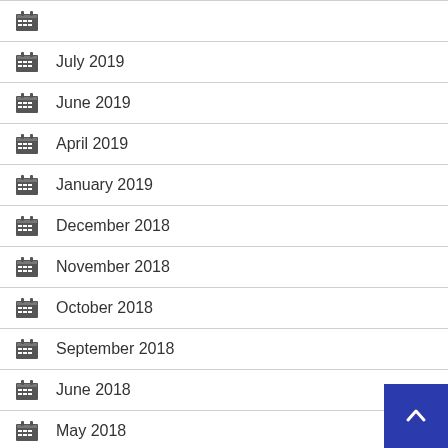July 2019
June 2019
April 2019
January 2019
December 2018
November 2018
October 2018
September 2018
June 2018
May 2018
April 2018
March 2018
February 2018